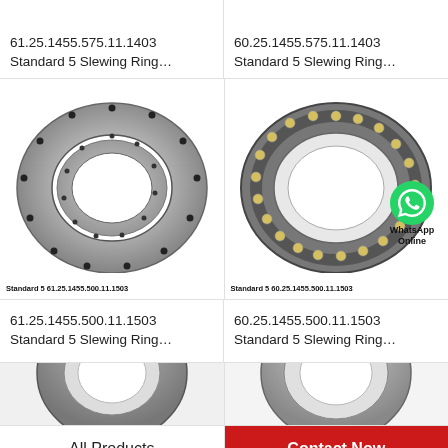61.25.1455.575.11.1403 Standard 5 Slewing Ring…
60.25.1455.575.11.1403 Standard 5 Slewing Ring…
[Figure (photo): Slewing ring bearing, large ring with bolt holes, metallic silver, seen from front. Caption: Standard 5 61.25.1455.500.11.1503]
[Figure (photo): Slewing ring bearing with yellow/gold ball elements visible, metallic dark ring. WhatsApp Online overlay. Caption: Standard 5 60.25.1455.500.11.1503]
61.25.1455.500.11.1503 Standard 5 Slewing Ring…
60.25.1455.500.11.1503 Standard 5 Slewing Ring…
[Figure (photo): Partial view of slewing ring bearing, dark metallic, bottom crop.]
[Figure (photo): Partial view of slewing ring bearing, lighter metallic, bottom crop.]
All Products
Contact Now